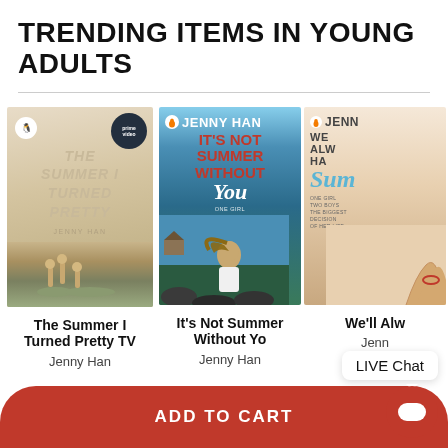TRENDING ITEMS IN YOUNG ADULTS
[Figure (illustration): Book cover: The Summer I Turned Pretty by Jenny Han, with Prime badge]
[Figure (illustration): Book cover: It's Not Summer Without You by Jenny Han]
[Figure (illustration): Book cover: We'll Always Have Summer by Jenny Han (partially cropped)]
The Summer I Turned Pretty TV
Jenny Han
It's Not Summer Without You
Jenny Han
We'll Alw...
Jenn...
LIVE Chat
ADD TO CART